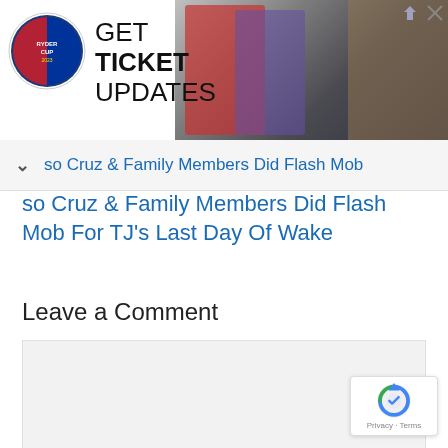[Figure (photo): Ryder Cup advertisement banner with logo, 'GET TICKET UPDATES' text, and golf players photo in background]
so Cruz & Family Members Did Flash Mob For TJ's Last Day Of Wake
Leave a Comment
[Figure (other): reCAPTCHA badge with logo and Privacy - Terms text]